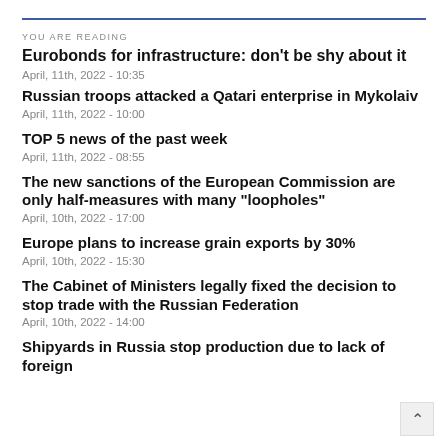YOU ARE READING
Eurobonds for infrastructure: don't be shy about it
April, 11th, 2022 - 10:35
Russian troops attacked a Qatari enterprise in Mykolaiv
April, 11th, 2022 - 10:00
TOP 5 news of the past week
April, 11th, 2022 - 08:55
The new sanctions of the European Commission are only half-measures with many "loopholes"
April, 10th, 2022 - 17:00
Europe plans to increase grain exports by 30%
April, 10th, 2022 - 15:30
The Cabinet of Ministers legally fixed the decision to stop trade with the Russian Federation
April, 10th, 2022 - 14:00
Shipyards in Russia stop production due to lack of foreign